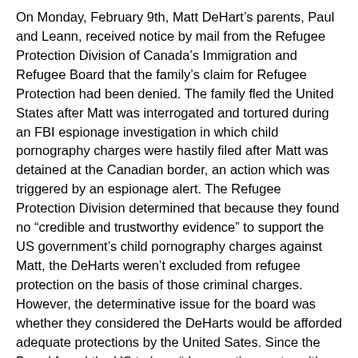On Monday, February 9th, Matt DeHart's parents, Paul and Leann, received notice by mail from the Refugee Protection Division of Canada's Immigration and Refugee Board that the family's claim for Refugee Protection had been denied. The family fled the United States after Matt was interrogated and tortured during an FBI espionage investigation in which child pornography charges were hastily filed after Matt was detained at the Canadian border, an action which was triggered by an espionage alert. The Refugee Protection Division determined that because they found no “credible and trustworthy evidence” to support the US government's child pornography charges against Matt, the DeHarts weren’t excluded from refugee protection on the basis of those criminal charges. However, the determinative issue for the board was whether they considered the DeHarts would be afforded adequate protections by the United Sates. Since the Board found the US to be a “democratic country with a system of checks and balances” and that Matt had the “ability to access and retain counsel for the purposes of